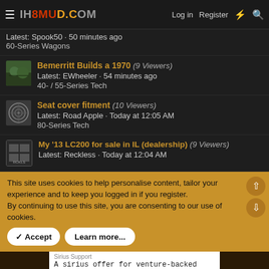IH8MUD.COM — Log in | Register
Latest: Spook50 · 50 minutes ago
60-Series Wagons
Bemerritt Builds a 1970 (9 Viewers)
Latest: EWheeler · 54 minutes ago
40- / 55-Series Tech
Seat cover fitment (10 Viewers)
Latest: Road Apple · Today at 12:05 AM
80-Series Tech
My '13 LC200 for sale in IL (dealership) (9 Viewers)
Latest: Reckless · Today at 12:04 AM
This site uses cookies to help personalise content, tailor your experience and to keep you logged in if you register.
By continuing to use this site, you are consenting to our use of cookies.
Accept | Learn more...
Sirius Support — A sirius offer for venture-backed technology mpanies